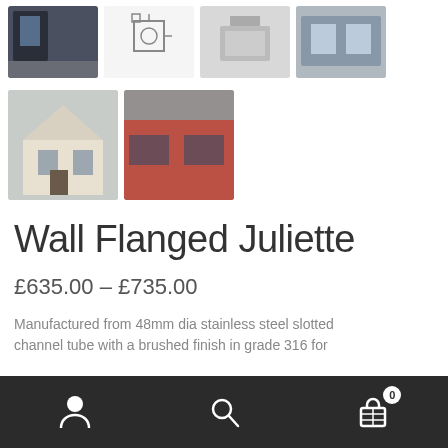[Figure (photo): Four product thumbnail images in a row at top: dark window photo, technical drawing/diagram, product photo, window installation photo]
[Figure (photo): Two product thumbnail images: house exterior photo, and building exterior photo]
Wall Flanged Juliette
£635.00 – £735.00
Manufactured from 48mm dia stainless steel slotted channel tube with a brushed finish in grade 316 for
[Figure (screenshot): Dark mobile navigation bar with user icon, search icon, and shopping cart icon with badge showing 0]